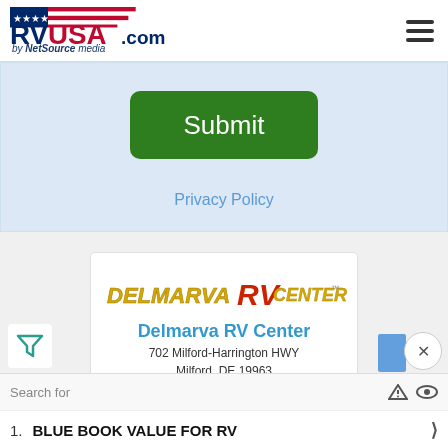RVUSA.com by NetSource media
Submit
Privacy Policy
[Figure (logo): Delmarva RV Center logo with red RV graphic and yellow/gold text]
Delmarva RV Center
702 Milford-Harrington HWY
Milford, DE 19963

Phone: 302-212-4239
Toll-Free: 877-496-7315
Fax: 302-424-3952
Search for   1. BLUE BOOK VALUE FOR RV